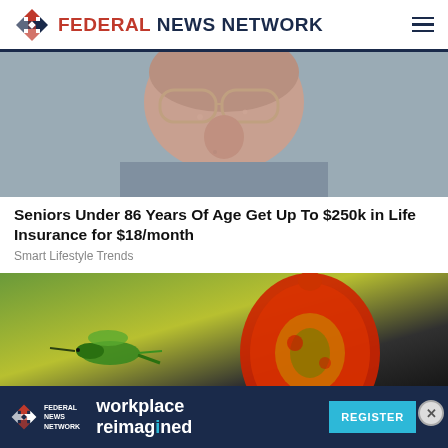FEDERAL NEWS NETWORK
[Figure (photo): Close-up photo of an elderly man with large eyeglasses]
Seniors Under 86 Years Of Age Get Up To $250k in Life Insurance for $18/month
Smart Lifestyle Trends
[Figure (photo): Photo featuring a hummingbird and a colorful red decorative glass jar]
[Figure (infographic): Federal News Network advertisement banner: workplace reimagined — REGISTER button]